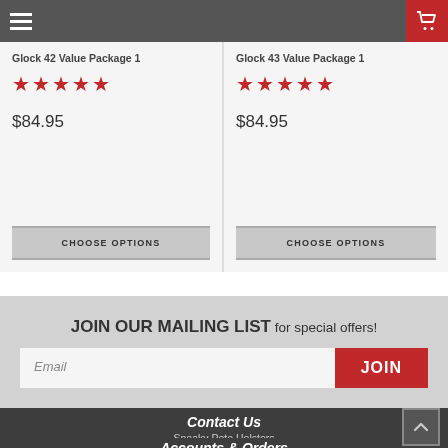Glock 42 Value Package 1
[Figure (other): 5 red stars rating]
$84.95
CHOOSE OPTIONS
Glock 43 Value Package 1
[Figure (other): 5 red stars rating]
$84.95
CHOOSE OPTIONS
JOIN OUR MAILING LIST for special offers!
Email
JOIN
Contact Us
Sneaky Pete Holsters
Accounts & Orders